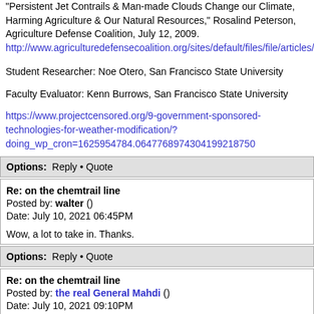"Persistent Jet Contrails & Man-made Clouds Change our Climate, Harming Agriculture & Our Natural Resources," Rosalind Peterson, Agriculture Defense Coalition, July 12, 2009.
http://www.agriculturedefensecoalition.org/sites/default/files/file/articles/NWV_Pe
Student Researcher: Noe Otero, San Francisco State University
Faculty Evaluator: Kenn Burrows, San Francisco State University
https://www.projectcensored.org/9-government-sponsored-technologies-for-weather-modification/?doing_wp_cron=1625954784.0647768974304199218750
Options: Reply • Quote
Re: on the chemtrail line
Posted by: walter ()
Date: July 10, 2021 06:45PM
Wow, a lot to take in. Thanks.
Options: Reply • Quote
Re: on the chemtrail line
Posted by: the real General Mahdi ()
Date: July 10, 2021 09:10PM
my pleasure...